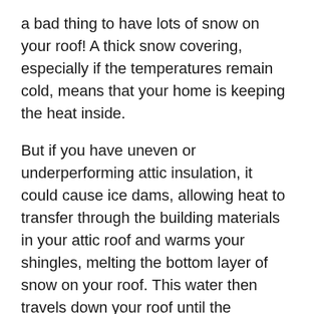a bad thing to have lots of snow on your roof! A thick snow covering, especially if the temperatures remain cold, means that your home is keeping the heat inside.
But if you have uneven or underperforming attic insulation, it could cause ice dams, allowing heat to transfer through the building materials in your attic roof and warms your shingles, melting the bottom layer of snow on your roof. This water then travels down your roof until the temperatures drop low enough for it to freeze. Most commonly this is at the very edge of your roofline, which is how icicles, a sign of ice dams to come, often form.
Melted ice will continue to travel down the roofline, but it will soon be prevented from dripping off the roof by the increasing size of icicles. The larger of ice will catching, resulting in...